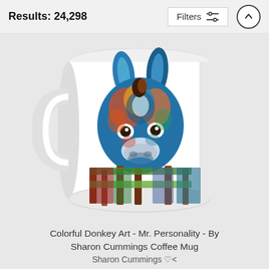Results: 24,298
[Figure (photo): A white coffee mug featuring colorful donkey art painting - Mr. Personality by Sharon Cummings. The mug has a handle on the left side and displays a vibrant, multi-colored stylized donkey face illustration looking forward over a fence.]
Colorful Donkey Art - Mr. Personality - By Sharon Cummings Coffee Mug
Sharon Cummings